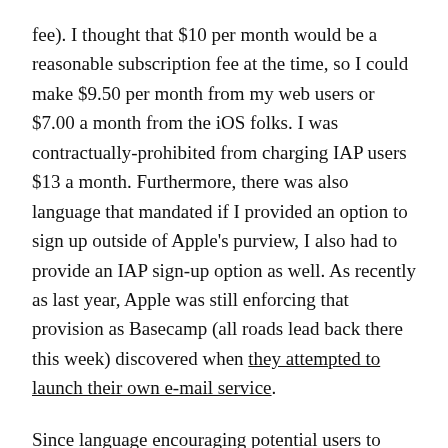fee). I thought that $10 per month would be a reasonable subscription fee at the time, so I could make $9.50 per month from my web users or $7.00 a month from the iOS folks. I was contractually-prohibited from charging IAP users $13 a month. Furthermore, there was also language that mandated if I provided an option to sign up outside of Apple's purview, I also had to provide an IAP sign-up option as well. As recently as last year, Apple was still enforcing that provision as Basecamp (all roads lead back there this week) discovered when they attempted to launch their own e-mail service.
Since language encouraging potential users to sign-up via the web interface would get my app rejected and I was prohibited from raising prices for iOS users that reflected the additional 25% Apple tax was claiming as